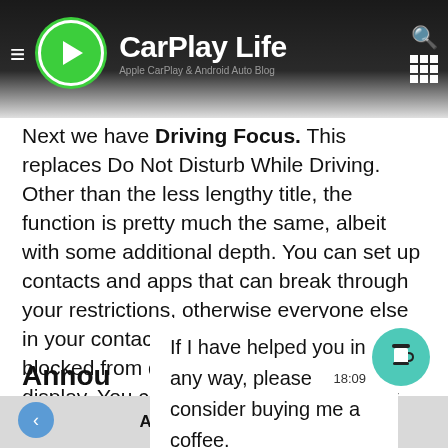[Figure (screenshot): CarPlay Life website header with green logo circle containing play button, site title 'CarPlay Life', hamburger menu icon, search icon, and grid icon on dark background]
Next we have Driving Focus. This replaces Do Not Disturb While Driving. Other than the less lengthy title, the function is pretty much the same, albeit with some additional depth. You can set up contacts and apps that can break through your restrictions, otherwise everyone else in your contacts and app library will be blocked from displaying on your CarPlay display. You can have it enable manually via the Settings option, or have it trigger automatically when you connect t…
If I have helped you in any way, please consider buying me a coffee.
Annou
Announce Messages